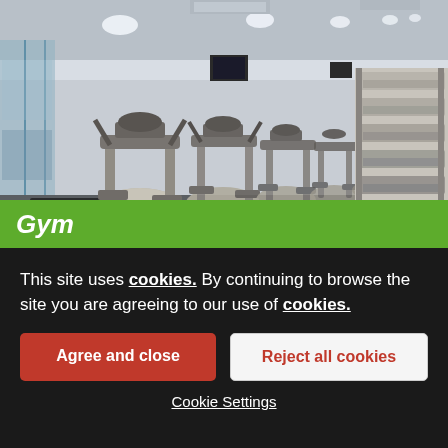[Figure (photo): Interior of a large gym with rows of elliptical machines and treadmills extending into the distance, with bright ceiling lights and glass walls.]
Gym
This site uses cookies. By continuing to browse the site you are agreeing to our use of cookies.
Agree and close
Reject all cookies
Cookie Settings